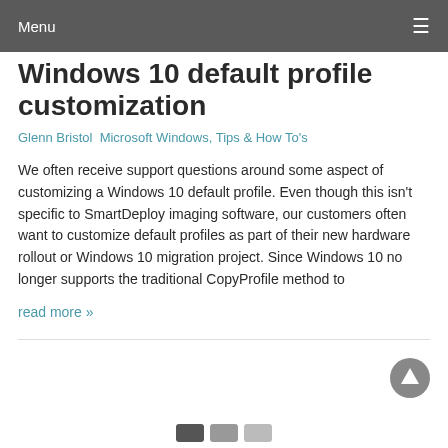Menu
Windows 10 default profile customization
Glenn Bristol Microsoft Windows, Tips & How To's
We often receive support questions around some aspect of customizing a Windows 10 default profile. Even though this isn't specific to SmartDeploy imaging software, our customers often want to customize default profiles as part of their new hardware rollout or Windows 10 migration project. Since Windows 10 no longer supports the traditional CopyProfile method to
read more »